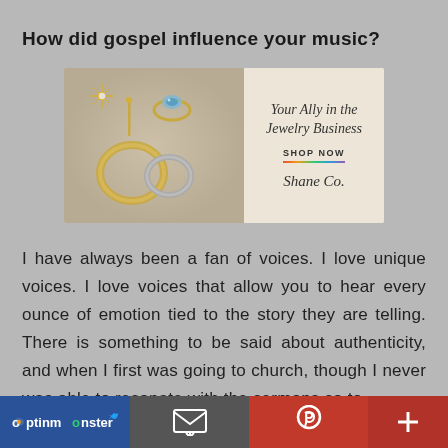How did gospel influence your music?
[Figure (photo): Shane Co. jewelry advertisement banner showing rings and earrings, with tagline 'Your Ally in the Jewelry Business' and 'SHOP NOW' button]
I have always been a fan of voices. I love unique voices. I love voices that allow you to hear every ounce of emotion tied to the story they are telling. There is something to be said about authenticity, and when I first was going to church, though I never was able to resonate with the sermons so to
[Figure (screenshot): Social sharing toolbar at bottom with OptinMonster/Twitter, email, Pinterest, and more (+) buttons]